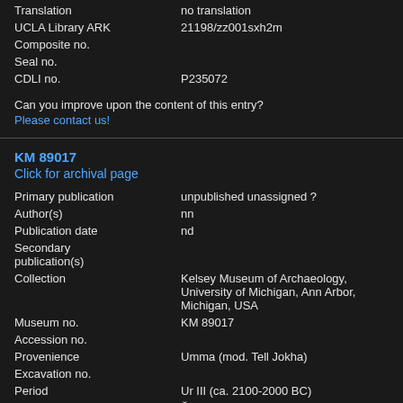| Translation | no translation |
| UCLA Library ARK | 21198/zz001sxh2m |
| Composite no. |  |
| Seal no. |  |
| CDLI no. | P235072 |
Can you improve upon the content of this entry?
Please contact us!
KM 89017
Click for archival page
| Primary publication | unpublished unassigned ? |
| Author(s) | nn |
| Publication date | nd |
| Secondary publication(s) |  |
| Collection | Kelsey Museum of Archaeology, University of Michigan, Ann Arbor, Michigan, USA |
| Museum no. | KM 89017 |
| Accession no. |  |
| Provenience | Umma (mod. Tell Jokha) |
| Excavation no. |  |
| Period | Ur III (ca. 2100-2000 BC) |
| Dates referenced | Šulgi.44.01d.00 ? (intercalated) |
| Object type | tablet |
| Remarks |  |